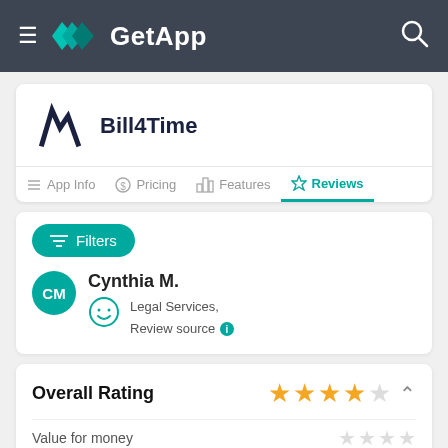GetApp navigation bar
Bill4Time
App Info | Pricing | Features | Reviews
Filters
Cynthia M.
Legal Services,
Review source
Overall Rating
Value for money